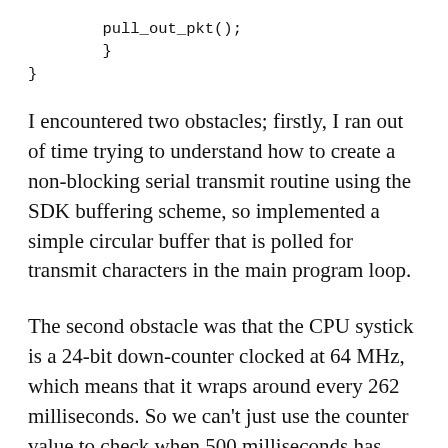pull_out_pkt();
        }
}
I encountered two obstacles; firstly, I ran out of time trying to understand how to create a non-blocking serial transmit routine using the SDK buffering scheme, so implemented a simple circular buffer that is polled for transmit characters in the main program loop.
The second obstacle was that the CPU systick is a 24-bit down-counter clocked at 64 MHz, which means that it wraps around every 262 milliseconds. So we can't just use the counter value to check when 500 milliseconds has elapsed, it needs some creative coding to measure that length of time; with hindsight, it